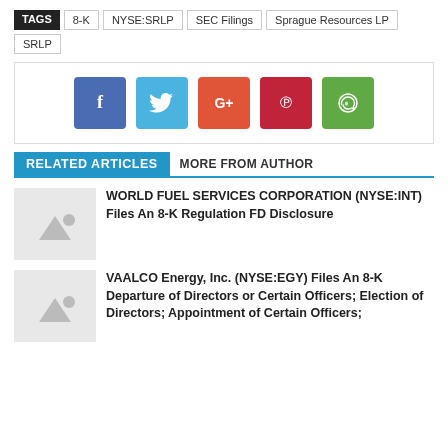TAGS | 8-K | NYSE:SRLP | SEC Filings | Sprague Resources LP | SRLP
[Figure (infographic): Social media share buttons: Facebook (blue), Twitter (light blue), Google+ (orange-red), Pinterest (red), WhatsApp (green)]
RELATED ARTICLES   MORE FROM AUTHOR
WORLD FUEL SERVICES CORPORATION (NYSE:INT) Files An 8-K Regulation FD Disclosure
VAALCO Energy, Inc. (NYSE:EGY) Files An 8-K Departure of Directors or Certain Officers; Election of Directors; Appointment of Certain Officers;